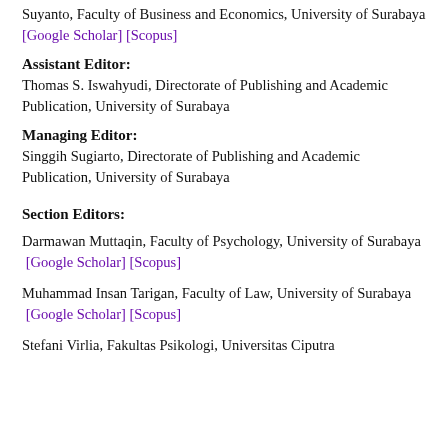Suyanto, Faculty of Business and Economics, University of Surabaya [Google Scholar] [Scopus]
Assistant Editor:
Thomas S. Iswahyudi, Directorate of Publishing and Academic Publication, University of Surabaya
Managing Editor:
Singgih Sugiarto, Directorate of Publishing and Academic Publication, University of Surabaya
Section Editors:
Darmawan Muttaqin, Faculty of Psychology, University of Surabaya [Google Scholar] [Scopus]
Muhammad Insan Tarigan, Faculty of Law, University of Surabaya [Google Scholar] [Scopus]
Stefani Virlia, Fakultas Psikologi, Universitas Ciputra